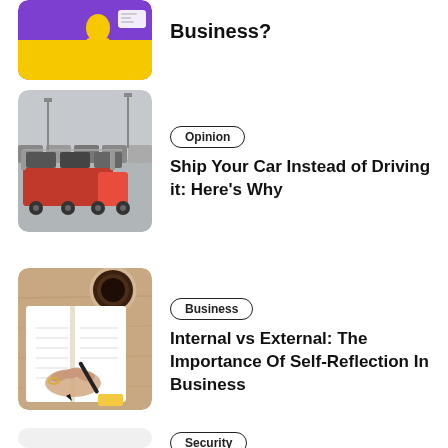[Figure (photo): Partial view of a purple illustration with a person, top of page]
Business?
[Figure (photo): Car transporter truck carrying multiple vehicles in a parking lot]
Opinion
Ship Your Car Instead of Driving it: Here's Why
[Figure (photo): Overhead view of person writing in notebook on wooden table with coffee cup]
Business
Internal vs External: The Importance Of Self-Reflection In Business
Security